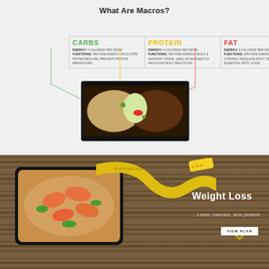What Are Macros?
| CARBS | PROTEIN | FAT |
| --- | --- | --- |
| ENERGY: 4 CALORIES PER GRAM
FUNCTIONS: PROVIDE ENERGY, FACILITATE FAT METABOLISM, PREVENT PROTEIN BREAKDOWN | ENERGY: 4 CALORIES PER GRAM
FUNCTIONS: PROVIDE ENERGY, BUILD & MAINTAIN TISSUE, USED AS ENZYMES TO FACILITATE BODY REACTIONS | ENERGY: 9 CALORIES PER GRAM
FUNCTIONS: PROVIDE ENERGY, ABSORB VITAMINS, REGULATE BODY TEMP, PROVIDE ESSENTIAL FATTY ACIDS |
[Figure (photo): Meal prep container with rice, vegetables, and ground meat — labeled with connector lines to CARBS, PROTEIN, and FAT]
[Figure (photo): Meal prep container with shrimp stir fry on a wooden table background with a yellow measuring tape]
Weight Loss
Lower calories, less protein
VIEW PLAN